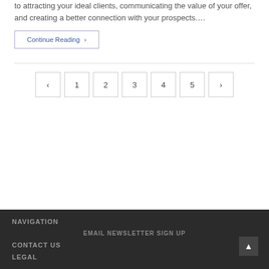to attracting your ideal clients, communicating the value of your offer, and creating a better connection with your prospects….
Continue Reading ›
‹ 1 2 3 4 5 ›
NAVIGATION
EMAIL NEWSLETTER SIGN UP
CONTACT US
LEGAL